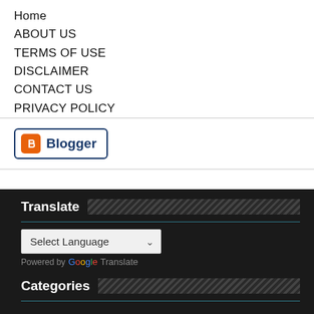Home
ABOUT US
TERMS OF USE
DISCLAIMER
CONTACT US
PRIVACY POLICY
[Figure (logo): Blogger logo button with orange B icon and bold blue 'Blogger' text, inside a navy bordered rounded rectangle]
Translate
[Figure (screenshot): Select Language dropdown with chevron arrow, light gray background]
Powered by Google Translate
Categories
ANDROID
COUNTRIES WHATSAPP GROUP LINKS